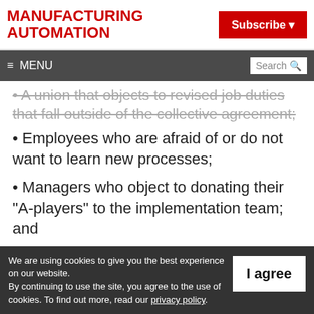MANUFACTURING AUTOMATION | Subscribe
≡ MENU | Search
• A union that objects to revised job duties that fall outside of the collective agreement;
• Employees who are afraid of or do not want to learn new processes;
• Managers who object to donating their "A-players" to the implementation team;  and
• Executives who stand to lose performance-
We are using cookies to give you the best experience on our website. By continuing to use the site, you agree to the use of cookies. To find out more, read our privacy policy.